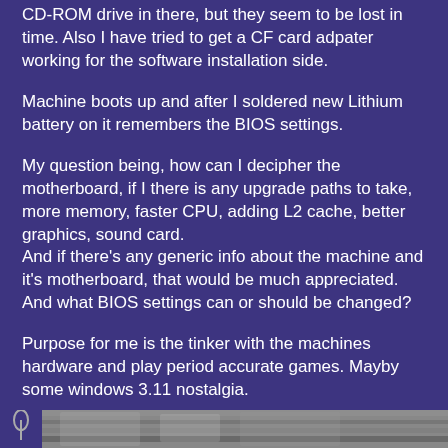CD-ROM drive in there, but they seem to be lost in time. Also I have tried to get a CF card adpater working for the software installation side.
Machine boots up and after I soldered new Lithium battery on it remembers the BIOS settings.
My question being, how can I decipher the motherboard, if I there is any upgrade paths to take, more memory, faster CPU, adding L2 cache, better graphics, sound card.
And if there's any generic info about the machine and it's motherboard, that would be much appreciated.
And what BIOS settings can or should be changed?
Purpose for me is the tinker with the machines hardware and play period accurate games. Mayby some windows 3.11 nostalgia.
Attachments
[Figure (photo): Partial view of an attachment image strip at the bottom of the page, showing the beginning of a photograph clipped partially in view.]